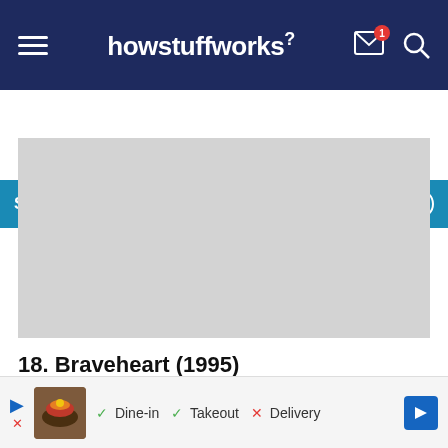howstuffworks
Sign up for our Newsletter!
[Figure (other): Gray rectangular image placeholder]
18. Braveheart (1995)
We're actually a bit shocked Braveheart (1995) isn't a little higher on this list, especially after thinking on
[Figure (other): Bottom advertisement bar showing food image with Dine-in, Takeout, Delivery options]